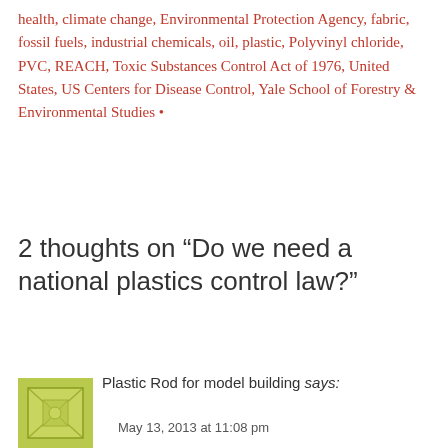health, climate change, Environmental Protection Agency, fabric, fossil fuels, industrial chemicals, oil, plastic, Polyvinyl chloride, PVC, REACH, Toxic Substances Control Act of 1976, United States, US Centers for Disease Control, Yale School of Forestry & Environmental Studies •
2 thoughts on “Do we need a national plastics control law?”
Plastic Rod for model building says:
May 13, 2013 at 11:08 pm